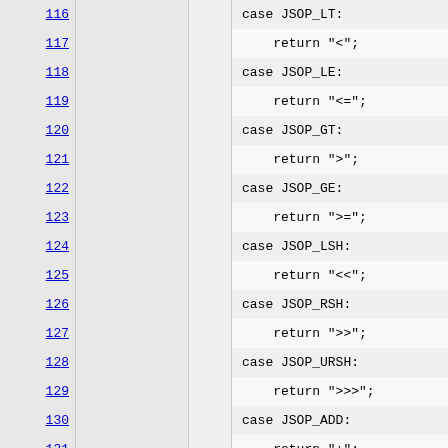Code listing lines 116-137 showing switch cases for JSOP operators: JSOP_LT, JSOP_LE, JSOP_GT, JSOP_GE, JSOP_LSH, JSOP_RSH, JSOP_URSH, JSOP_ADD, JSOP_SUB, JSOP_MUL, JSOP_DIV with corresponding return strings